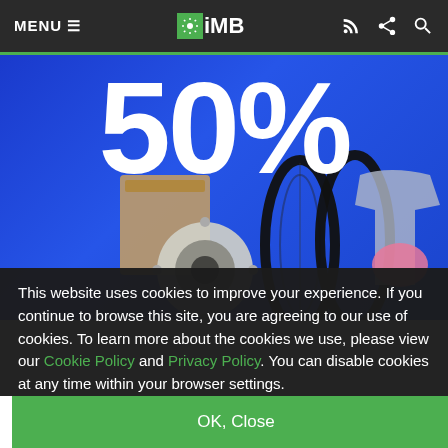MENU ≡  iMB
[Figure (photo): Blue promotional banner showing 50% in large white text with bicycle parts (wheels, cassette, jersey) below]
This website uses cookies to improve your experience. If you continue to browse this site, you are agreeing to our use of cookies. To learn more about the cookies we use, please view our Cookie Policy and Privacy Policy. You can disable cookies at any time within your browser settings.
OK, Close